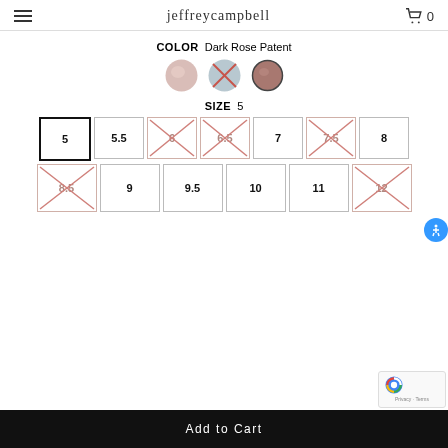jeffreycampbell
COLOR  Dark Rose Patent
[Figure (illustration): Three circular color swatches: light pink/mauve (available), light blue/grey with red X (unavailable), dark rose/mauve with border (selected/Dark Rose Patent)]
SIZE  5
[Figure (illustration): Size selection grid. Row 1: 5 (selected, bold border), 5.5, 6 (unavailable/crossed), 6.5 (unavailable/crossed), 7, 7.5 (unavailable/crossed), 8. Row 2: 8.5 (unavailable/crossed), 9, 9.5, 10, 11, 12 (unavailable/crossed).]
Add to Cart